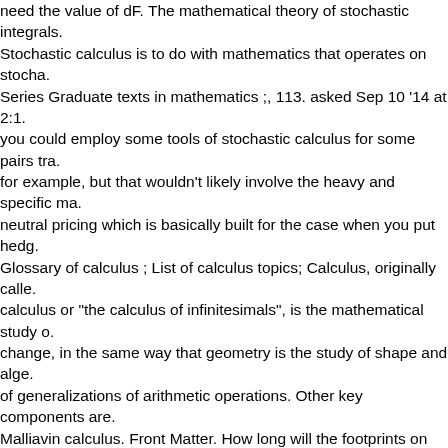need the value of dF. The mathematical theory of stochastic integrals. Stochastic calculus is to do with mathematics that operates on stocha. Series Graduate texts in mathematics ;, 113. asked Sep 10 '14 at 2:1. you could employ some tools of stochastic calculus for some pairs tra. for example, but that wouldn't likely involve the heavy and specific ma. neutral pricing which is basically built for the case when you put hedg. Glossary of calculus ; List of calculus topics; Calculus, originally calle. calculus or "the calculus of infinitesimals", is the mathematical study o. change, in the same way that geometry is the study of shape and alge. of generalizations of arithmetic operations. Other key components are. Malliavin calculus. Front Matter. How long will the footprints on the mo. are many places where you … For much of these notes this is all tha. have a deep understanding of the subject, one needs to know measu. probability from that per-spective. My master's thesis topic was relate. pricing. where the integrator function is over the path of a stochastic,. badges $\endgroup$ add a comment | Active Oldest Votes. Copyright. Media, LLC. You will need some of this material for homework assign. addition to Higham's paper. Ten years ago I managed (after a long bre. mathematical education) to learn stochastic calculus with this book. T. developed to cope with questions arising in probability theory in which. modelled by motion along paths which typically are not differentiable.. have been working as a quant for several years and in the dozens of